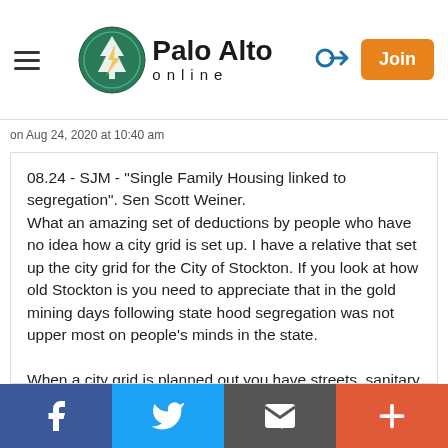Palo Alto online
on Aug 24, 2020 at 10:40 am
08.24 - SJM - "Single Family Housing linked to segregation". Sen Scott Weiner.
What an amazing set of deductions by people who have no idea how a city grid is set up. I have a relative that set up the city grid for the City of Stockton. If you look at how old Stockton is you need to appreciate that in the gold mining days following state hood segregation was not upper most on people's minds in the state.

When a city grid is planned out you have streets, sanitary plumbing that is directed to a common source for treatment, water distribution based on what is available at that location, needs to be
Facebook | Twitter | Email | More